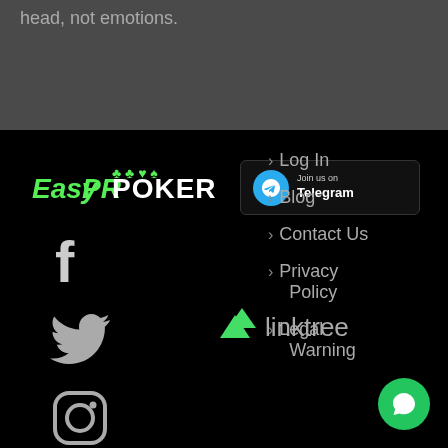head, not emotions.
[Figure (logo): EasyPRPoker logo with green card suits icons]
[Figure (illustration): Join us on Telegram button with Telegram icon]
> Log In
[Figure (illustration): Facebook icon]
[Figure (illustration): Linktree logo in green]
> Blog
[Figure (illustration): Twitter icon]
> Contact Us
[Figure (illustration): Instagram icon]
> Privacy Policy
> Legal Warning
[Figure (illustration): Green chat bubble button]